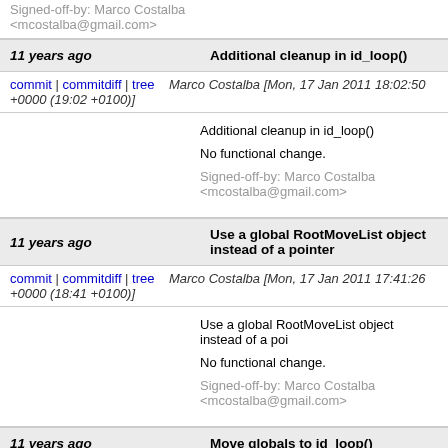Signed-off-by: Marco Costalba <mcostalba@gmail.com>
11 years ago   Additional cleanup in id_loop()
commit | commitdiff | tree   Marco Costalba [Mon, 17 Jan 2011 18:02:50 +0000 (19:02 +0100)]
Additional cleanup in id_loop()

No functional change.

Signed-off-by: Marco Costalba <mcostalba@gmail.com>
11 years ago   Use a global RootMoveList object instead of a pointer
commit | commitdiff | tree   Marco Costalba [Mon, 17 Jan 2011 17:41:26 +0000 (18:41 +0100)]
Use a global RootMoveList object instead of a poi

No functional change.

Signed-off-by: Marco Costalba <mcostalba@gmail.com>
11 years ago   Move globals to id_loop()
commit | commitdiff | tree   Marco Costalba [Mon, 17 Jan 2011 09:44:00 +0000 (10:44 +0100)]